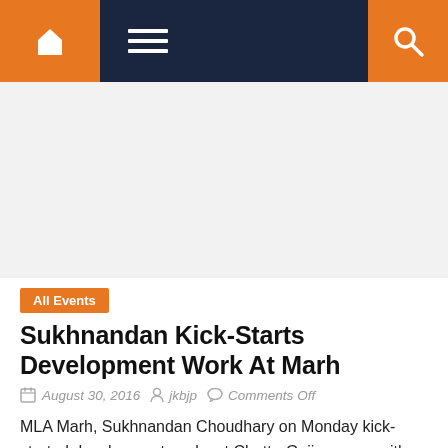Navigation bar with home icon, menu icon, and search icon
[Figure (other): Advertisement or blank white/grey area below navigation bar]
All Events
Sukhnandan Kick-Starts Development Work At Marh
August 30, 2016  jkbjp  Comments Off
MLA Marh, Sukhnandan Choudhary on Monday kick-started development works at Chatta-Gujjran area with an outlay/development of Rs.1.50 lakhs. Sukhnandan also started the...